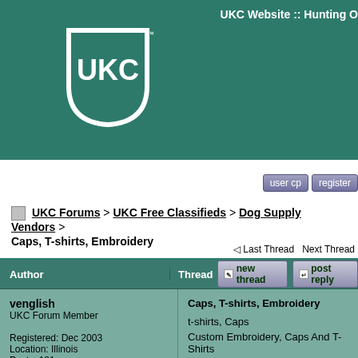[Figure (logo): UKC shield logo in white on teal background]
UKC Website :: Hunting O...
user cp   register
UKC Forums > UKC Free Classifieds > Dog Supply Vendors > Caps, T-shirts, Embroidery
Last Thread   Next Thread
| Author | Thread  [new thread] [post reply] |
| --- | --- |
| venglish
UKC Forum Member

Registered: Dec 2003
Location: Illinois
Posts: 181 | Caps, T-shirts, Embroidery

t-shirts, Caps
Custom Embroidery, Caps And T-Shirts
www.sunsetkennelsupply.com

https://www.bonanza.com/booths/fishback...

https://www.bonanza.com/booths/fishback...

We also have merchandise listed on eBay...

Last edited by venglish on 07-07-2021 at ... PM |